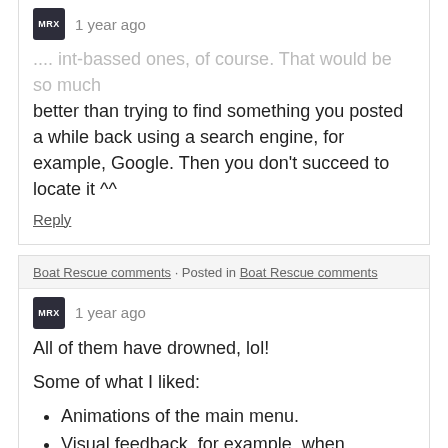.... int-bassed ones, of course. That would be so much better than trying to find something you posted a while back using a search engine, for example, Google. Then you don't succeed to locate it ^^
Reply
Boat Rescue comments · Posted in Boat Rescue comments
1 year ago
All of them have drowned, lol!
Some of what I liked:
Animations of the main menu.
Visual feedback, for example, when someone is about to drawn or when you need to refill your fuel.